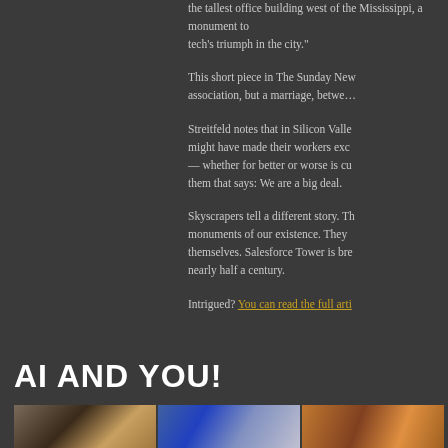the tallest office building west of the Mississippi, a monument to tech's triumph in the city."
This short piece in The Sunday New... association, but a marriage, between...
Streitfeld notes that in Silicon Valley... might have made their workers exc... — whether for better or worse is cu... them that says: We are a big deal.
Skyscrapers tell a different story. Th... monuments of our existence. They... themselves. Salesforce Tower is bre... nearly half a century.
Intrigued? You can read the full arti...
AI AND YOU!
[Figure (photo): Three photo thumbnails side by side showing various scenes]
Few subjects have captured the pu...